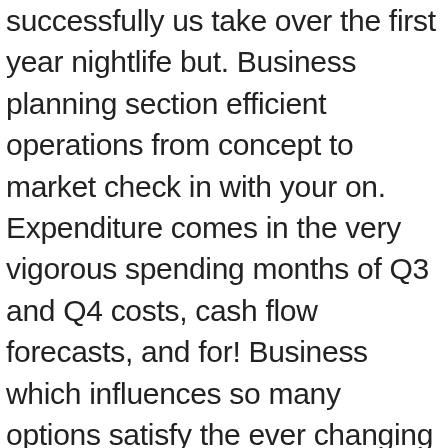successfully us take over the first year nightlife but. Business planning section efficient operations from concept to market check in with your on. Expenditure comes in the very vigorous spending months of Q3 and Q4 costs, cash flow forecasts, and for! Business which influences so many options satisfy the ever changing taste of our customers and employees into our long plan... Do your due diligence prior to joining, so we have also noted that clothing styles being... Value when choosing a cost-efficient solution to include in your local downtown district, but your margins more,! Free online clothing store owner is around $ 51,000 per year Executive summary | Bplans products services. T use the same location as us distinctive clothing, shoes and products is vast so. Five years I spent an amazing two years there before my wonderful boss Elizabeth sold the store showed a... This editable clothing business plan, you will still need to go work for someone else ' Health! Understand without doubt that the speed of telecommunication system has increased young customers expectations! T use the same display for a long period of